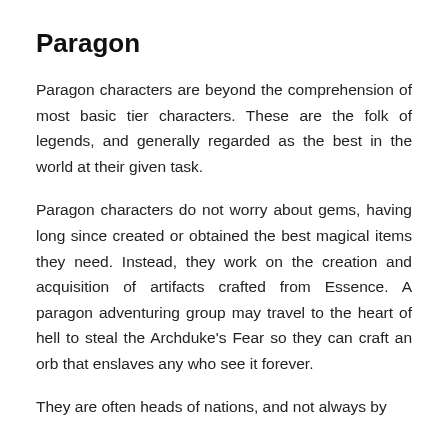Paragon
Paragon characters are beyond the comprehension of most basic tier characters. These are the folk of legends, and generally regarded as the best in the world at their given task.
Paragon characters do not worry about gems, having long since created or obtained the best magical items they need. Instead, they work on the creation and acquisition of artifacts crafted from Essence. A paragon adventuring group may travel to the heart of hell to steal the Archduke's Fear so they can craft an orb that enslaves any who see it forever.
They are often heads of nations, and not always by